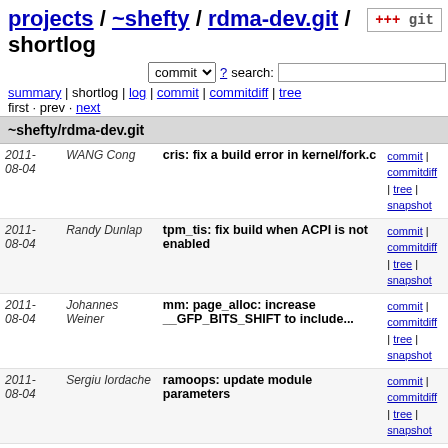projects / ~shefty / rdma-dev.git / shortlog
summary | shortlog | log | commit | commitdiff | tree
first · prev · next
~shefty/rdma-dev.git
| Date | Author | Message | Links |
| --- | --- | --- | --- |
| 2011-08-04 | WANG Cong | cris: fix a build error in kernel/fork.c | commit | commitdiff | tree | snapshot |
| 2011-08-04 | Randy Dunlap | tpm_tis: fix build when ACPI is not enabled | commit | commitdiff | tree | snapshot |
| 2011-08-04 | Johannes Weiner | mm: page_alloc: increase __GFP_BITS_SHIFT to include... | commit | commitdiff | tree | snapshot |
| 2011-08-04 | Sergiu Iordache | ramoops: update module parameters | commit | commitdiff | tree | snapshot |
| 2011-08-04 | Will Drewry | Documentation: add pointer to name_to_dev_t for root... | commit | commitdiff | tree | snapshot |
| 2011-08-04 | Randy Dunlap | fs/dcache.c: fix new kernel-doc warning | commit | commitdiff | tree | snapshot |
| 2011-08-04 | Rusty Russell | ida: simplified functions for id allocation | commit | commitdiff | tree | snapshot |